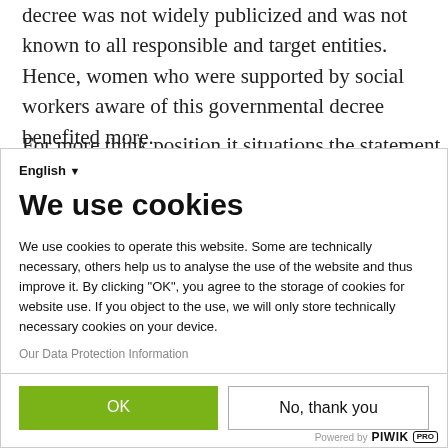decree was not widely publicized and was not known to all responsible and target entities. Hence, women who were supported by social workers aware of this governmental decree benefited more.
English ▾
We use cookies
We use cookies to operate this website. Some are technically necessary, others help us to analyse the use of the website and thus improve it. By clicking "OK", you agree to the storage of cookies for website use. If you object to the use, we will only store technically necessary cookies on your device.
Our Data Protection Information
OK
No, thank you
Powered by PIWIK PRO